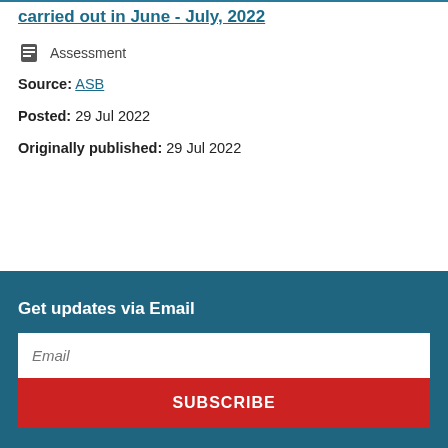carried out in June - July, 2022
Assessment
Source: ASB
Posted: 29 Jul 2022
Originally published: 29 Jul 2022
Get updates via Email
Email
SUBSCRIBE